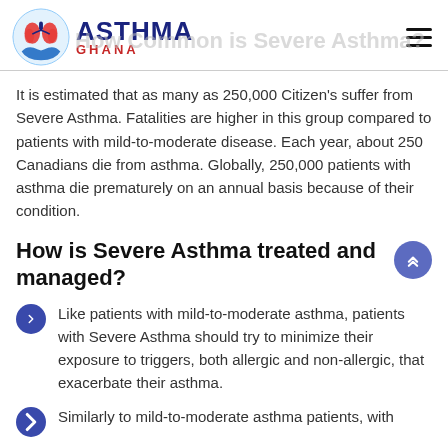ASTHMA GHANA
It is estimated that as many as 250,000 Citizen's suffer from Severe Asthma. Fatalities are higher in this group compared to patients with mild-to-moderate disease. Each year, about 250 Canadians die from asthma. Globally, 250,000 patients with asthma die prematurely on an annual basis because of their condition.
How is Severe Asthma treated and managed?
Like patients with mild-to-moderate asthma, patients with Severe Asthma should try to minimize their exposure to triggers, both allergic and non-allergic, that exacerbate their asthma.
Similarly to mild-to-moderate asthma patients, with...